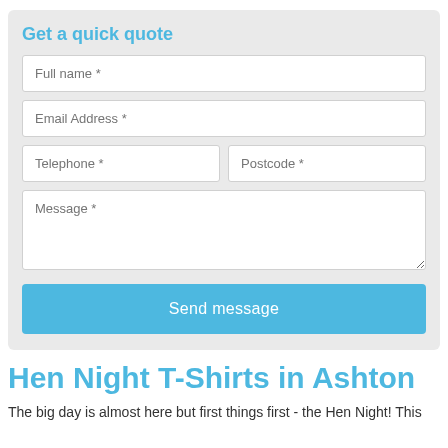Get a quick quote
Full name *
Email Address *
Telephone *
Postcode *
Message *
Send message
Hen Night T-Shirts in Ashton
The big day is almost here but first things first - the Hen Night! This